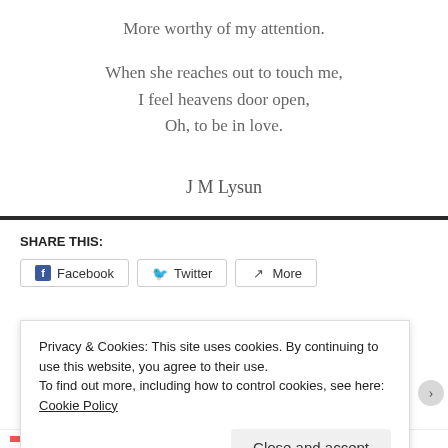More worthy of my attention.
When she reaches out to touch me,
I feel heavens door open,
Oh, to be in love.
J M Lysun
SHARE THIS:
Facebook   Twitter   More
Privacy & Cookies: This site uses cookies. By continuing to use this website, you agree to their use.
To find out more, including how to control cookies, see here: Cookie Policy
Close and accept